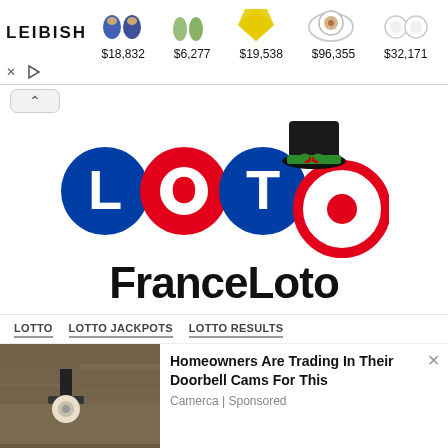[Figure (screenshot): Leibish jewelry ad banner with gemstone images and prices: $18,832, $6,277, $19,538, $96,355, $32,171]
[Figure (logo): FranceLoto logo with LOTO letters in blue and red circles, with a black top hat decorated with green holly on the last O, and FranceLoto text below]
LOTTO   LOTTO JACKPOTS   LOTTO RESULTS
[Figure (photo): Photo of an outdoor wall-mounted security camera on a stone/brick wall]
Homeowners Are Trading In Their Doorbell Cams For This
Camerca | Sponsored